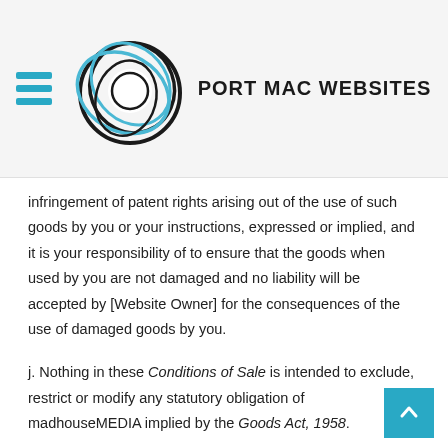[Figure (logo): Port Mac Websites logo with concentric circular swirl graphic in black and blue, and text PORT MAC WEBSITES in bold]
infringement of patent rights arising out of the use of such goods by you or your instructions, expressed or implied, and it is your responsibility of to ensure that the goods when used by you are not damaged and no liability will be accepted by [Website Owner] for the consequences of the use of damaged goods by you.
j. Nothing in these Conditions of Sale is intended to exclude, restrict or modify any statutory obligation of madhouseMEDIA implied by the Goods Act, 1958.